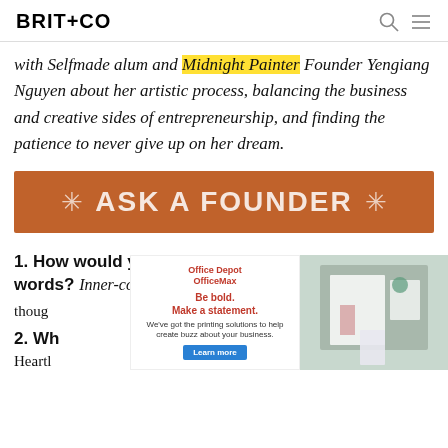BRIT+CO
with Selfmade alum and Midnight Painter Founder Yengiang Nguyen about her artistic process, balancing the business and creative sides of entrepreneurship, and finding the patience to never give up on her dream.
[Figure (infographic): Orange banner reading ASK A FOUNDER with decorative snowflake/asterisk symbols on each side]
1. How would you describe your brand in five words? Inner-connectedness, meaningful though
2. Wh... voke?
Heartl
[Figure (infographic): Office Depot OfficeMax advertisement overlay: Be bold. Make a statement. We've got the printing solutions to help create buzz about your business. Learn more button. Right side shows photo of stationery/desk items.]